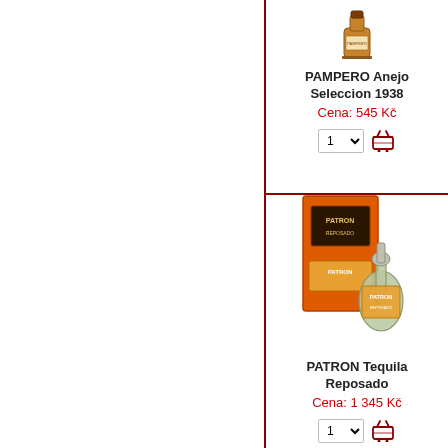[Figure (photo): Product photo of PAMPERO Anejo Seleccion 1938 rum bottle]
PAMPERO Anejo Seleccion 1938
Cena:  545 Kč
[Figure (photo): Product photo of PATRON Tequila Reposado bottle with orange box]
PATRON Tequila Reposado
Cena:  1 345 Kč